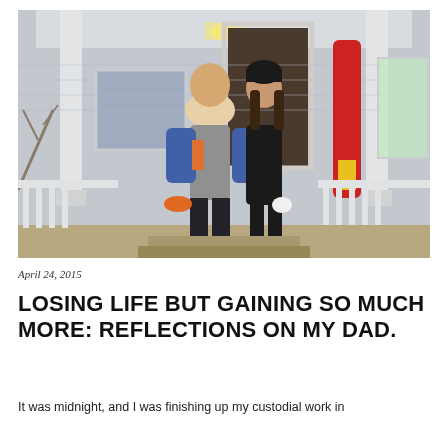[Figure (photo): A man and a young woman posing together on a front porch of a house. The man is wearing a gray vest over a blue shirt and holding an orange hat. The woman wears all black with a black beanie and white gloves. A red snowboard leans against the porch railing in the background. The house has white siding, white columns, and a lit doorway.]
April 24, 2015
LOSING LIFE BUT GAINING SO MUCH MORE: REFLECTIONS ON MY DAD.
It was midnight, and I was finishing up my custodial work in